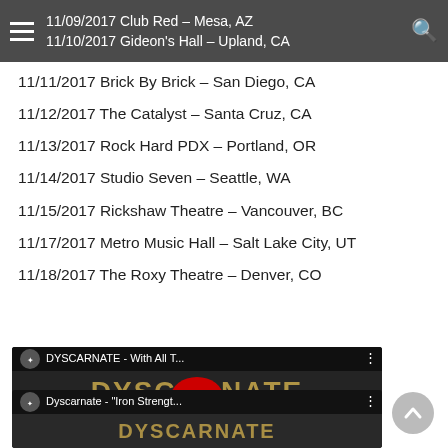11/09/2017 Club Red – Mesa, AZ
11/10/2017 Gideon's Hall – Upland, CA
11/11/2017 Brick By Brick – San Diego, CA
11/12/2017 The Catalyst – Santa Cruz, CA
11/13/2017 Rock Hard PDX – Portland, OR
11/14/2017 Studio Seven – Seattle, WA
11/15/2017 Rickshaw Theatre – Vancouver, BC
11/17/2017 Metro Music Hall – Salt Lake City, UT
11/18/2017 The Roxy Theatre – Denver, CO
[Figure (screenshot): YouTube video thumbnail for DYSCARNATE - With All T... showing 'THE MAKING OF WITH ALL THEIR MIGHT' text over a black and white studio photo with a red YouTube play button in the center]
[Figure (screenshot): YouTube video thumbnail for Dyscarnate - 'Iron Strengt...' showing partial view of video thumbnail]